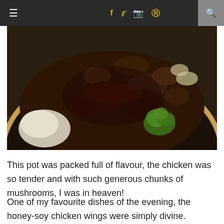≡  f  𝕥  ☷  𝕡  🔍
[Figure (photo): A dark ceramic bowl or pot filled with a rich braised dish — visible ingredients include white rice on the left, broccoli florets, mushrooms, and pieces of meat in a dark sauce. The bowl has a gold/bronze rim. The background surface appears to be a wooden table.]
This pot was packed full of flavour, the chicken was so tender and with such generous chunks of mushrooms, I was in heaven!
One of my favourite dishes of the evening, the honey-soy chicken wings were simply divine.